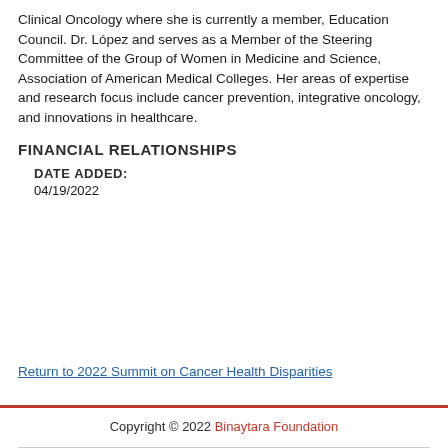Clinical Oncology where she is currently a member, Education Council. Dr. López and serves as a Member of the Steering Committee of the Group of Women in Medicine and Science, Association of American Medical Colleges. Her areas of expertise and research focus include cancer prevention, integrative oncology, and innovations in healthcare.
FINANCIAL RELATIONSHIPS
DATE ADDED:
04/19/2022
Return to 2022 Summit on Cancer Health Disparities
Copyright © 2022 Binaytara Foundation